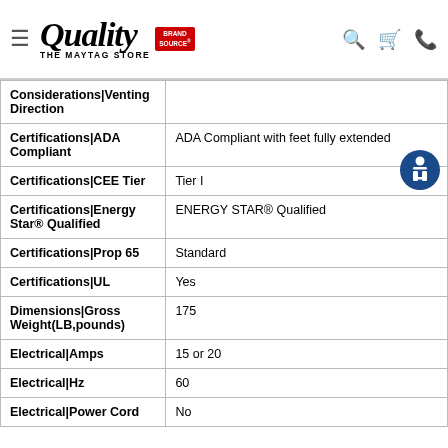Quality The Maytag Store — Brand Source
| Attribute | Value |
| --- | --- |
| Considerations|Venting Direction |  |
| Certifications|ADA Compliant | ADA Compliant with feet fully extended |
| Certifications|CEE Tier | Tier I |
| Certifications|Energy Star® Qualified | ENERGY STAR® Qualified |
| Certifications|Prop 65 | Standard |
| Certifications|UL | Yes |
| Dimensions|Gross Weight(LB,pounds) | 175 |
| Electrical|Amps | 15 or 20 |
| Electrical|Hz | 60 |
| Electrical|Power Cord | No |